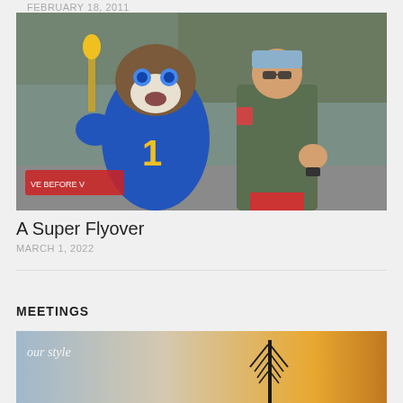FEBRUARY 18, 2011
[Figure (photo): A mascot in a blue NFL jersey with number 1 and a military pilot in olive green flight suit posing together in front of an aircraft on a tarmac. The mascot is a buffalo/ram character with blue gloves giving a thumbs up. The pilot is wearing sunglasses and a cap.]
A Super Flyover
MARCH 1, 2022
MEETINGS
[Figure (photo): Partial view of a photo showing a dark silhouette of an antenna or tower structure against a warm golden sky at dusk or dawn, with cursive text overlay at the top left.]